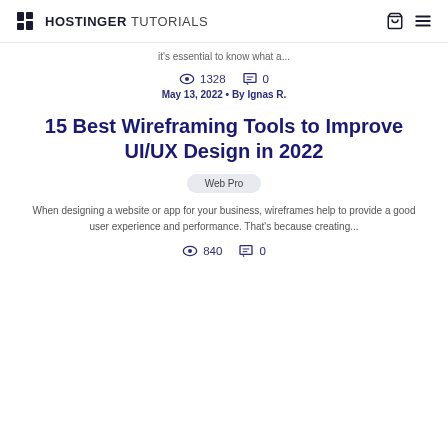HOSTINGER TUTORIALS
it's essential to know what a...
1328   0
May 13, 2022 • By Ignas R.
15 Best Wireframing Tools to Improve UI/UX Design in 2022
Web Pro
When designing a website or app for your business, wireframes help to provide a good user experience and performance. That's because creating...
840   0